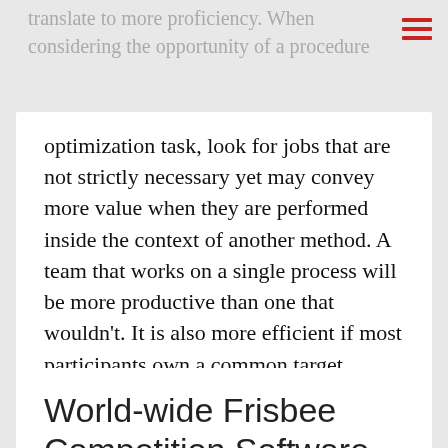translate to more proficiency. When considering the opportunity of a procedure
optimization task, look for jobs that are not strictly necessary yet may convey more value when they are performed inside the context of another method. A team that works on a single process will be more productive than one that wouldn’t. It is also more efficient if most participants own a common target.
CD's and Merchandise   Leave a comment
World-wide Frisbee Competition Software